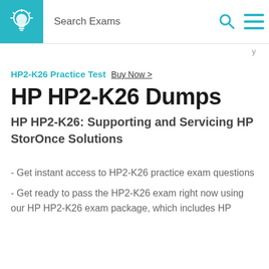Search Exams
y
HP2-K26 Practice Test Buy Now >
HP HP2-K26 Dumps
HP HP2-K26: Supporting and Servicing HP StorOnce Solutions
- Get instant access to HP2-K26 practice exam questions
- Get ready to pass the HP2-K26 exam right now using our HP HP2-K26 exam package, which includes HP